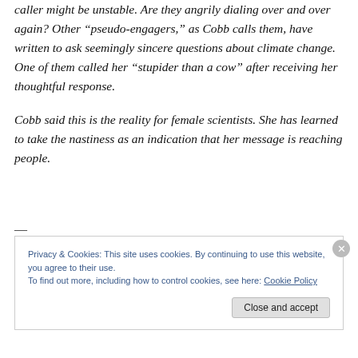caller might be unstable. Are they angrily dialing over and over again? Other “pseudo-engagers,” as Cobb calls them, have written to ask seemingly sincere questions about climate change. One of them called her “stupider than a cow” after receiving her thoughtful response.

Cobb said this is the reality for female scientists. She has learned to take the nastiness as an indication that her message is reaching people.
—
Privacy & Cookies: This site uses cookies. By continuing to use this website, you agree to their use.
To find out more, including how to control cookies, see here: Cookie Policy
Close and accept